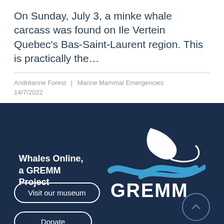On Sunday, July 3, a minke whale carcass was found on Ile Vertein Quebec's Bas-Saint-Laurent region. This is practically the…
Andréanne Forest  |  Marine Mammal Emergencies
14/7/2022
[Figure (logo): GREMM logo with whale fin graphic and text 'Whales Online, a GREMM Project']
Visit our museum
Donate